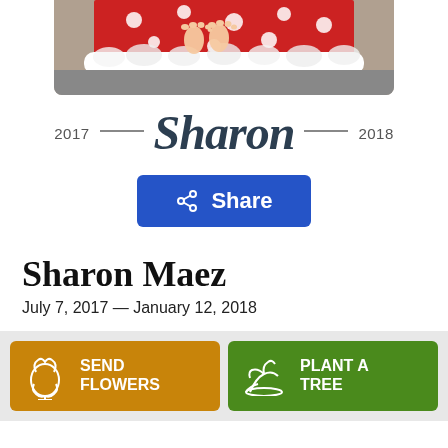[Figure (photo): Photo of baby Sharon Maez in a red polka dot outfit with white fluffy trim, showing feet]
Sharon
2017 — 2018
Share
Sharon Maez
July 7, 2017 — January 12, 2018
SEND FLOWERS
PLANT A TREE